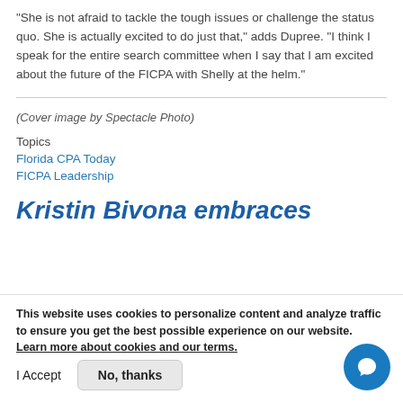“She is not afraid to tackle the tough issues or challenge the status quo. She is actually excited to do just that,” adds Dupree. “I think I speak for the entire search committee when I say that I am excited about the future of the FICPA with Shelly at the helm.”
(Cover image by Spectacle Photo)
Topics
Florida CPA Today
FICPA Leadership
Kristin Bivona embraces
This website uses cookies to personalize content and analyze traffic to ensure you get the best possible experience on our website. Learn more about cookies and our terms.
I Accept   No, thanks